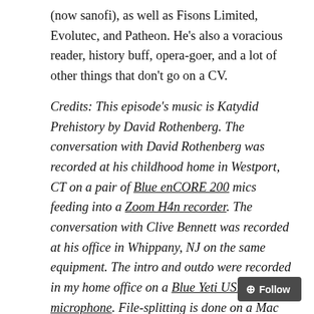(now sanofi), as well as Fisons Limited, Evolutec, and Patheon. He's also a voracious reader, history buff, opera-goer, and a lot of other things that don't go on a CV.
Credits: This episode's music is Katydid Prehistory by David Rothenberg. The conversation with David Rothenberg was recorded at his childhood home in Westport, CT on a pair of Blue enCORE 200 mics feeding into a Zoom H4n recorder. The conversation with Clive Bennett was recorded at his office in Whippany, NJ on the same equipment. The intro and outdo were recorded in my home office on a Blue Yeti USB microphone. File-splitting is done on a Mac Mini using Audacity. All editing and processing was done in Garage Band. Photo of David playing with cicadas by Charles Lindsay. Photo of Clive & me by Sally Langa.